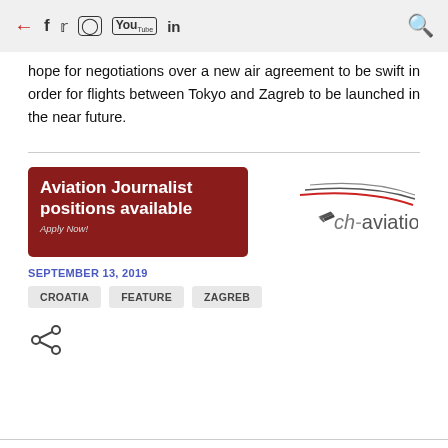← f 🐦 📷 ▶ in 🔍
hope for negotiations over a new air agreement to be swift in order for flights between Tokyo and Zagreb to be launched in the near future.
[Figure (infographic): Advertisement banner for ch-aviation Aviation Journalist positions available. Apply Now! Left side: dark red background with white bold text. Right side: ch-aviation logo with airplane graphic and stylized swoosh lines.]
SEPTEMBER 13, 2019
CROATIA   FEATURE   ZAGREB
[Figure (other): Share icon (network/share symbol)]